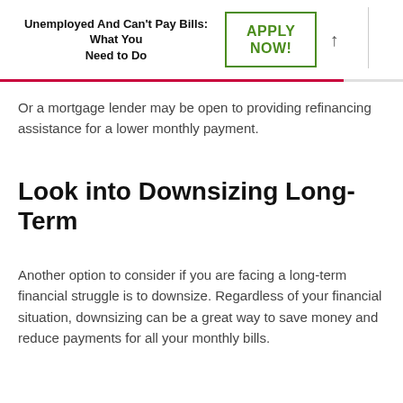Unemployed And Can't Pay Bills: What You Need to Do | APPLY NOW!
Or a mortgage lender may be open to providing refinancing assistance for a lower monthly payment.
Look into Downsizing Long-Term
Another option to consider if you are facing a long-term financial struggle is to downsize. Regardless of your financial situation, downsizing can be a great way to save money and reduce payments for all your monthly bills.